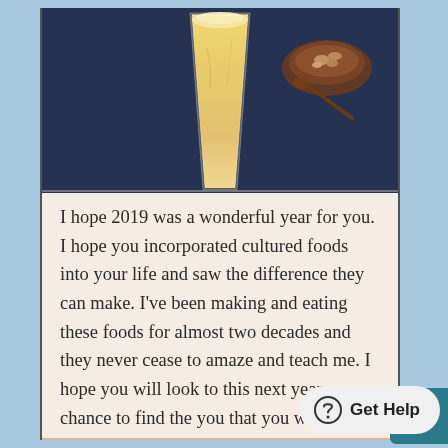[Figure (photo): A tall milkshake or smoothie glass with a creamy yellow/beige drink, on a dark blue background. A wooden bowl with nuts and a wooden spoon are visible in the background.]
I hope 2019 was a wonderful year for you. I hope you incorporated cultured foods into your life and saw the difference they can make. I've been making and eating these foods for almost two decades and they never cease to amaze and teach me. I hope you will look to this next year as a chance to find the you that you were always meant to be – healthy and happy. This is our top content of the year that you may have missed. Below you'll find some of popular blogs of the year.